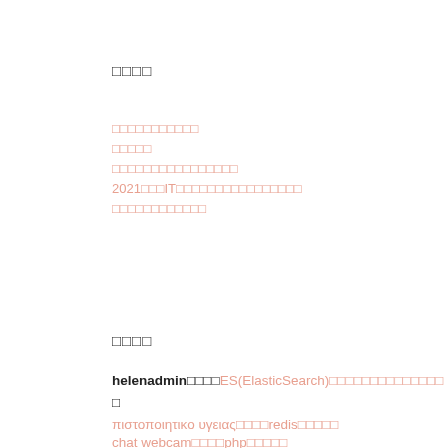□□□□
□□□□□□□□□□□
□□□□□
□□□□□□□□□□□□□□□□
2021□□□IT□□□□□□□□□□□□□□□□
□□□□□□□□□□□□
□□□□
helenadmin□□□□ES(ElasticSearch)□□□□□□□□□□□□□□□
πιστοποιητικο υγειας□□□□redis□□□□□
chat webcam□□□□php□□□□□